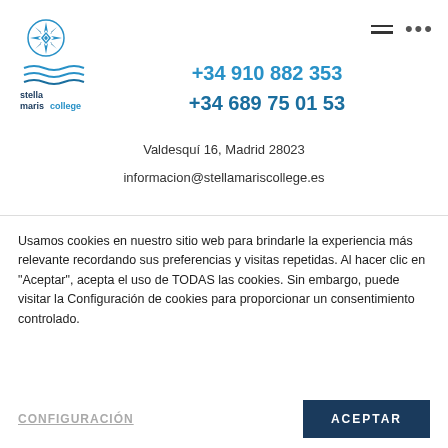[Figure (logo): Stella Maris College logo with star/compass emblem and wavy lines, text 'stella maris college' in dark blue and light blue]
+34 910 882 353
+34 689 75 01 53
Valdesquí 16, Madrid 28023
informacion@stellamariscollege.es
Usamos cookies en nuestro sitio web para brindarle la experiencia más relevante recordando sus preferencias y visitas repetidas. Al hacer clic en "Aceptar", acepta el uso de TODAS las cookies. Sin embargo, puede visitar la Configuración de cookies para proporcionar un consentimiento controlado.
CONFIGURACIÓN
ACEPTAR